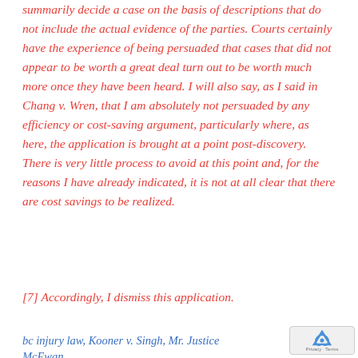summarily decide a case on the basis of descriptions that do not include the actual evidence of the parties. Courts certainly have the experience of being persuaded that cases that did not appear to be worth a great deal turn out to be worth much more once they have been heard. I will also say, as I said in Chang v. Wren, that I am absolutely not persuaded by any efficiency or cost-saving argument, particularly where, as here, the application is brought at a point post-discovery. There is very little process to avoid at this point and, for the reasons I have already indicated, it is not at all clear that there are cost savings to be realized.
[7] Accordingly, I dismiss this application.
bc injury law, Kooner v. Singh, Mr. Justice McEwan,